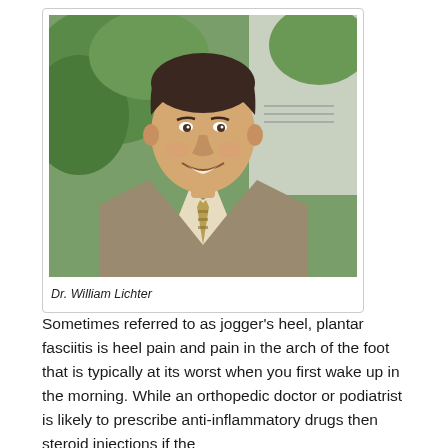[Figure (photo): Portrait photo of Dr. William Lichter, a middle-aged man in a suit and tie, smiling, with greenery visible in the background.]
Dr. William Lichter
Sometimes referred to as jogger's heel, plantar fasciitis is heel pain and pain in the arch of the foot that is typically at its worst when you first wake up in the morning. While an orthopedic doctor or podiatrist is likely to prescribe anti-inflammatory drugs then steroid injections if the